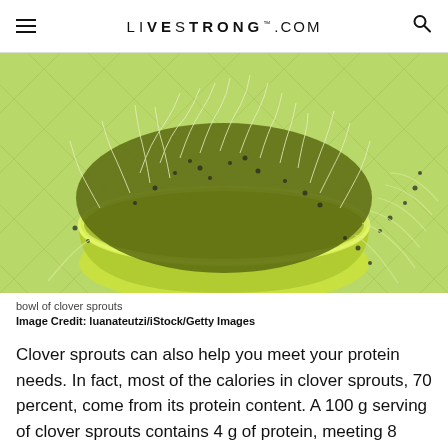LIVESTRONG.COM
[Figure (photo): A green bowl overflowing with clover sprouts, placed on a light green quilted surface with loose sprouts scattered around.]
bowl of clover sprouts
Image Credit: luanateutzi/iStock/Getty Images
Clover sprouts can also help you meet your protein needs. In fact, most of the calories in clover sprouts, 70 percent, come from its protein content. A 100 g serving of clover sprouts contains 4 g of protein, meeting 8 percent of your daily needs. Clover sprouts also